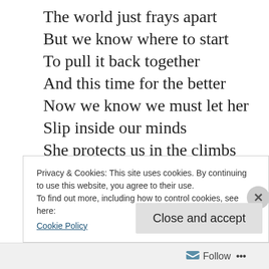The world just frays apart
But we know where to start
To pull it back together
And this time for the better
Now we know we must let her
Slip inside our minds
She protects us in the climbs
We climbed a little too high,
Passed through the fear to die
We know that space and time
Is not where we stand
Privacy & Cookies: This site uses cookies. By continuing to use this website, you agree to their use.
To find out more, including how to control cookies, see here:
Cookie Policy
Follow ...